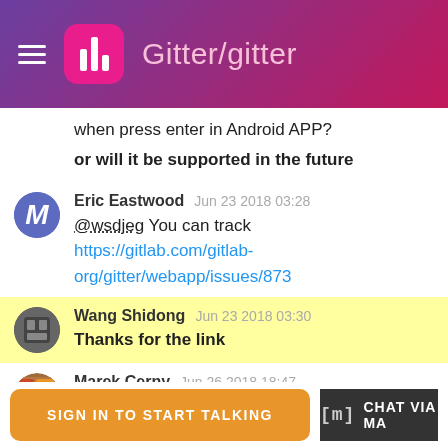Gitter/gitter
when press enter in Android APP?
or will it be supported in the future
Eric Eastwood   Jun 23 2018 03:28
@wsdjeg You can track https://gitlab.com/gitlab-org/gitter/webapp/issues/873
Wang Shidong   Jun 23 2018 03:30
Thanks for the link
Marek Cerny   Jun 26 2018 18:47
Hello!

is it possible to run gitter locally network

like GitLab?

the problem is we do not want to share your messages